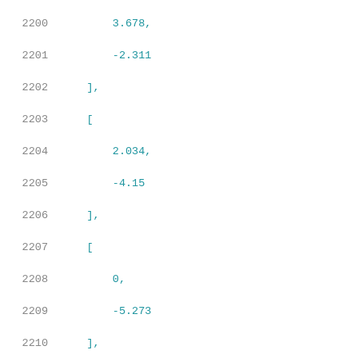2200    3.678,
2201    -2.311
2202    ],
2203    [
2204    2.034,
2205    -4.15
2206    ],
2207    [
2208    0,
2209    -5.273
2210    ],
2211    [
2212    0,
2213    0
2214    ],
2215    [
2216    -4.671,
2217    -4.736
2218    ],
2219    [
2220    -7.52,